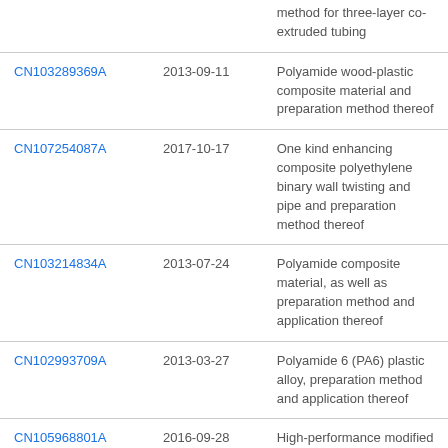| Patent ID | Date | Description |
| --- | --- | --- |
|  |  | method for three-layer co-extruded tubing |
| CN103289369A | 2013-09-11 | Polyamide wood-plastic composite material and preparation method thereof |
| CN107254087A | 2017-10-17 | One kind enhancing composite polyethylene binary wall twisting and pipe and preparation method thereof |
| CN103214834A | 2013-07-24 | Polyamide composite material, as well as preparation method and application thereof |
| CN102993709A | 2013-03-27 | Polyamide 6 (PA6) plastic alloy, preparation method and application thereof |
| CN105968801A | 2016-09-28 | High-performance modified polyamide composite material and preparation method thereof |